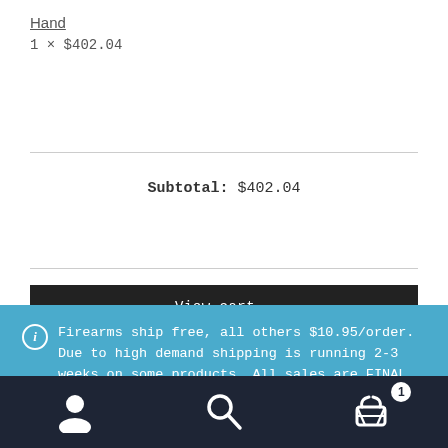Hand
1 × $402.04
Subtotal: $402.04
View cart →
ℹ Firearms ship free, all others $10.95/order. Due to high demand shipping is running 2-3 weeks on some products. All sales are FINAL, no changes or cancellations possible. Carefully read our terms and conditions before checkout.
Dismiss